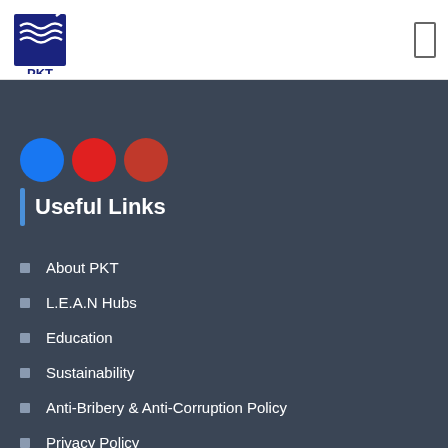[Figure (logo): PKT logo — dark blue square with white wave/lines graphic and 'PKT' text below]
Useful Links
About PKT
L.E.A.N Hubs
Education
Sustainability
Anti-Bribery & Anti-Corruption Policy
Privacy Policy
Contact Us